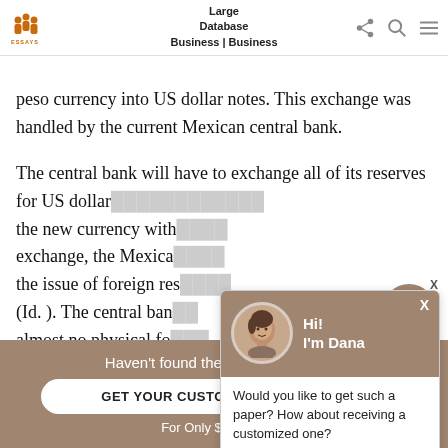UK Essays | Business | Database | Business
peso currency into US dollar notes. This exchange was handled by the current Mexican central bank.
The central bank will have to exchange all of its reserves for US dollars in order to be able to float the new currency with... exchange, the Mexica... the issue of foreign res... (Id. ). The central bank... almost no physical for... notes themselves do n... However, the bank wil...
[Figure (screenshot): Chat popup with avatar of Dana saying 'Hi! I'm Dana' with message 'Would you like to get such a paper? How about receiving a customized one?' and 'Check it out' link]
[Figure (screenshot): Chat bubble icon at bottom right]
Haven't found the Essay You Want?
GET YOUR CUSTOM ESSAY SAMPLE
For Only $13.90/page